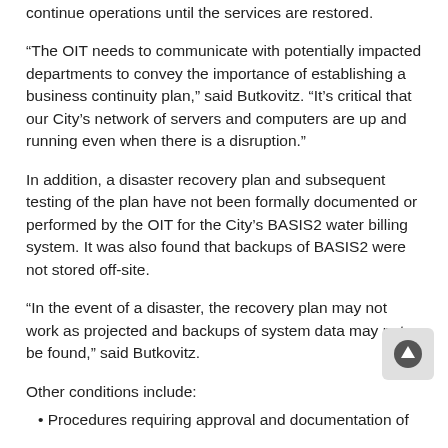continue operations until the services are restored.
“The OIT needs to communicate with potentially impacted departments to convey the importance of establishing a business continuity plan,” said Butkovitz. “It’s critical that our City’s network of servers and computers are up and running even when there is a disruption.”
In addition, a disaster recovery plan and subsequent testing of the plan have not been formally documented or performed by the OIT for the City’s BASIS2 water billing system. It was also found that backups of BASIS2 were not stored off-site.
“In the event of a disaster, the recovery plan may not work as projected and backups of system data may not be found,” said Butkovitz.
Other conditions include:
Procedures requiring approval and documentation of